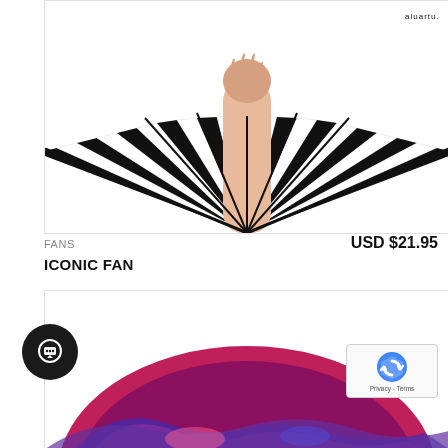[Figure (photo): A hand holding open a black and white striped decorative fan against a white background. The fan is spread wide at the top with alternating black and white stripes radiating outward.]
FANS
USD $21.95
ICONIC FAN
[Figure (photo): A colorful fan with red, pink, blue and purple swirling pattern, partially visible at the bottom of the page.]
[Figure (other): Chat support button - black circle with white chat icon]
[Figure (other): Google reCAPTCHA badge in bottom right corner showing reCAPTCHA logo and Privacy - Terms text]